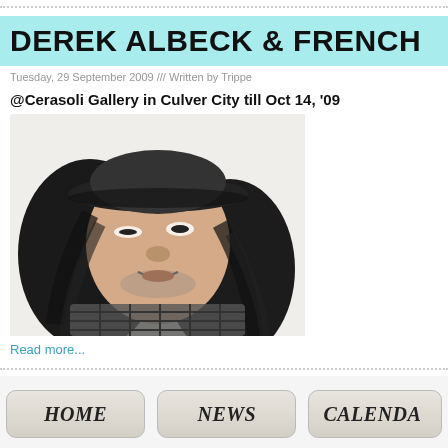DEREK ALBECK & FRENCH
Tuesday, 29 September 2009 /// Written by Trippe
@Cerasoli Gallery in Culver City till Oct 14, '09
[Figure (illustration): Black and white pencil-style portrait drawing of a man with long curly hair and a baseball cap, wearing a plaid shirt, looking upward with mouth slightly open]
Read more...
HOME | NEWS | CALENDA...